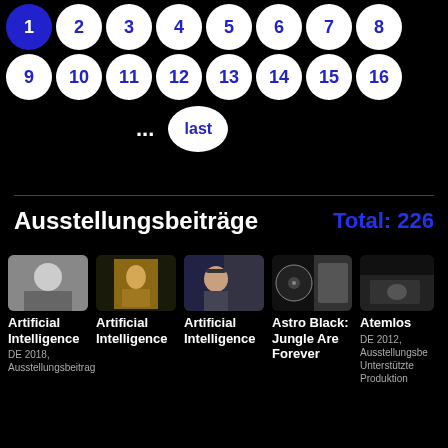[Figure (screenshot): Pagination controls: row 1 shows circles numbered 1 (active/blue), 2, 3, 4, 5, 6, 7, 8; row 2 shows circles 9, 10, 11, 12, 13, 14, 15, 16; row 3 shows ellipsis and 'last' button]
Ausstellungsbeiträge
Total: 226
[Figure (screenshot): Grid of 5 media cards: Artificial Intelligence (DE 2018, Ausstellungsbeitrag) with portrait photo; Artificial Intelligence with Mona Lisa image; Artificial Intelligence with man-with-headphones image; Astro Black: Jungle Are Forever with vinyl/crowd image; Atemlos (DE 2012, Ausstellungsbe Unterstützte Produktion) with dark scene image]